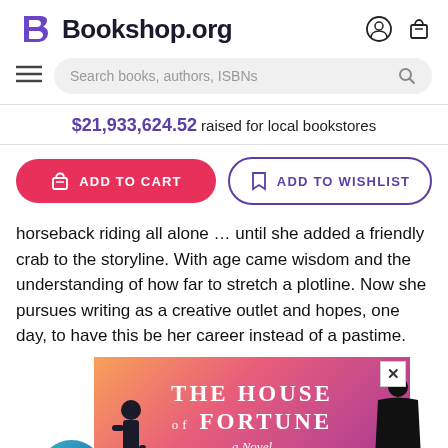Bookshop.org
Search books, authors, ISBNs
$21,933,624.52 raised for local bookstores
ADD TO CART
ADD TO WISHLIST
horseback riding all alone … until she added a friendly crab to the storyline. With age came wisdom and the understanding of how far to stretch a plotline. Now she pursues writing as a creative outlet and hopes, one day, to have this be her career instead of a pastime.
[Figure (illustration): Advertisement for 'The House of Fortune: A Novel' by Jessie Burton, showing a pink/orange gradient background with silhouetted figures and white text, with a close button (×) in the top right corner.]